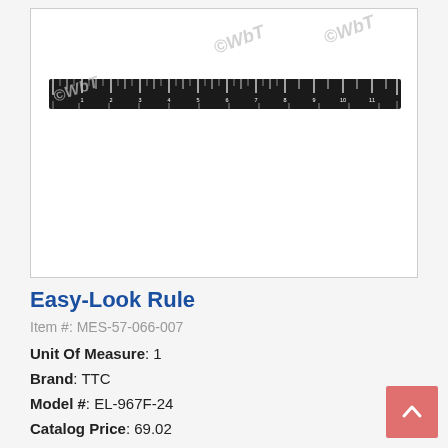[Figure (photo): Photo of a black Easy-Look ruler with white measurement markings, displayed horizontally. Multiple ©WbT watermarks overlay the image.]
Easy-Look Rule
Item #: MES-57-066-007
Unit Of Measure: 1
Brand: TTC
Model #: EL-967F-24
Catalog Price: 69.02